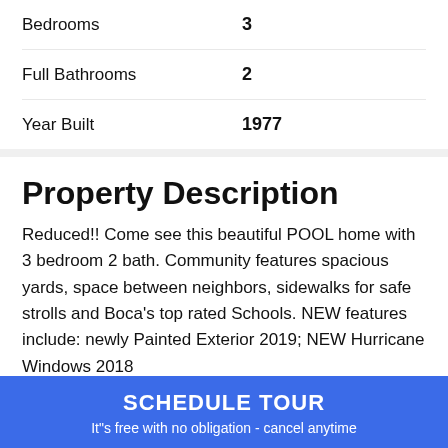| Property Feature | Value |
| --- | --- |
| Bedrooms | 3 |
| Full Bathrooms | 2 |
| Year Built | 1977 |
Property Description
Reduced!! Come see this beautiful POOL home with 3 bedroom 2 bath. Community features spacious yards, space between neighbors, sidewalks for safe strolls and Boca's top rated Schools. NEW features include: newly Painted Exterior 2019; NEW Hurricane Windows 2018
SCHEDULE TOUR
It"s free with no obligation - cancel anytime